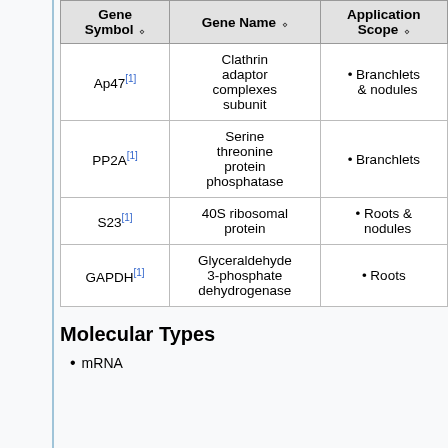| Gene Symbol | Gene Name | Application Scope |
| --- | --- | --- |
| Ap47[1] | Clathrin adaptor complexes subunit | Branchlets & nodules |
| PP2A[1] | Serine threonine protein phosphatase | Branchlets |
| S23[1] | 40S ribosomal protein | Roots & nodules |
| GAPDH[1] | Glyceraldehyde 3-phosphate dehydrogenase | Roots |
Molecular Types
mRNA